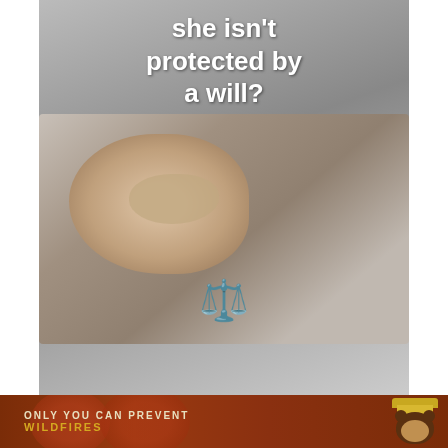[Figure (photo): Sleeping baby with overlaid text asking 'she isn't protected by a will?' and a scales of justice emoji]
[Figure (infographic): Red holiday graphic reading 'Wishing You A PICTURE PERFECT Holiday' with parentingchaos.com URL, plus photo strip with number badge 2 and a woman's face photo below]
[Figure (infographic): Smokey Bear 'Only You Can Prevent Wildfires' promotional image at the bottom]